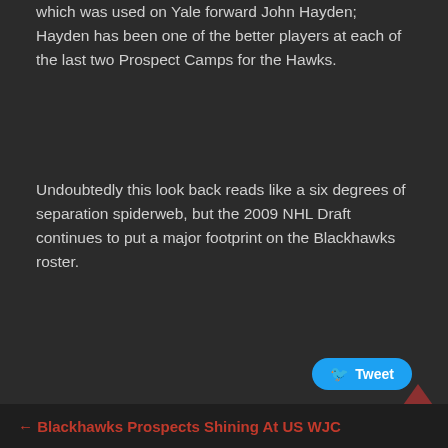which was used on Yale forward John Hayden; Hayden has been one of the better players at each of the last two Prospect Camps for the Hawks.
Undoubtedly this look back reads like a six degrees of separation spiderweb, but the 2009 NHL Draft continues to put a major footprint on the Blackhawks roster.
Share this:
← Blackhawks Prospects Shining At US WJC